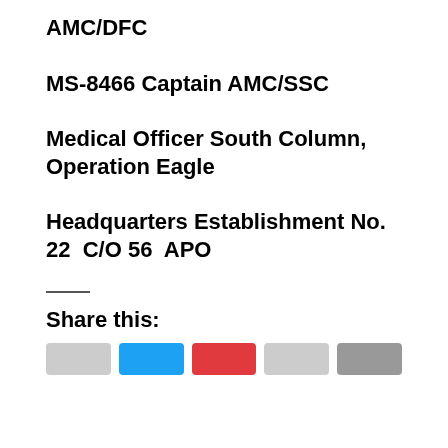AMC/DFC
MS-8466 Captain AMC/SSC
Medical Officer South Column, Operation Eagle
Headquarters Establishment No. 22  C/O 56  APO
Share this: